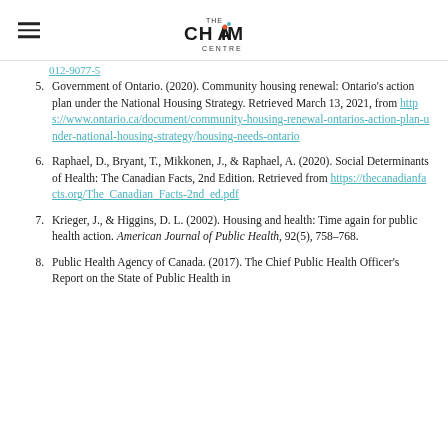THE CHAIM CENTRE
012-9077-5
5. Government of Ontario. (2020). Community housing renewal: Ontario's action plan under the National Housing Strategy. Retrieved March 13, 2021, from https://www.ontario.ca/document/community-housing-renewal-ontarios-action-plan-under-national-housing-strategy/housing-needs-ontario
6. Raphael, D., Bryant, T., Mikkonen, J., & Raphael, A. (2020). Social Determinants of Health: The Canadian Facts, 2nd Edition. Retrieved from https://thecanadianfacts.org/The_Canadian_Facts-2nd_ed.pdf
7. Krieger, J., & Higgins, D. L. (2002). Housing and health: Time again for public health action. American Journal of Public Health, 92(5), 758–768.
8. Public Health Agency of Canada. (2017). The Chief Public Health Officer's Report on the State of Public Health in